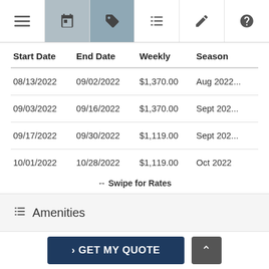[Figure (screenshot): Navigation tab bar with icons: hamburger menu, calendar (active/highlighted), tag/price, list, edit, help]
| Start Date | End Date | Weekly | Season |
| --- | --- | --- | --- |
| 08/13/2022 | 09/02/2022 | $1,370.00 | Aug 2022... |
| 09/03/2022 | 09/16/2022 | $1,370.00 | Sept 202... |
| 09/17/2022 | 09/30/2022 | $1,119.00 | Sept 202... |
| 10/01/2022 | 10/28/2022 | $1,119.00 | Oct 2022 |
↔ Swipe for Rates
Amenities